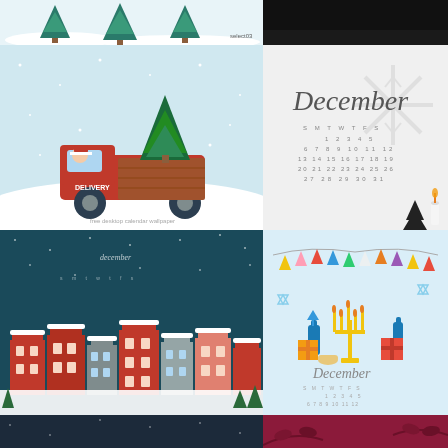[Figure (illustration): Christmas trees illustration with small figures, partial view (top strip)]
[Figure (illustration): Dark background partial view (top strip)]
[Figure (illustration): Red truck carrying a Christmas tree in a snowy scene]
[Figure (illustration): December calendar on white background with snowflake and small black Christmas tree]
[Figure (illustration): Dark teal snowy town scene with pink/red buildings and calendar]
[Figure (illustration): Hanukkah/December themed illustration with menorah, gifts, bunting, and calendar]
[Figure (illustration): Dark navy background with gold DECEMBER lettering and decorative plants]
[Figure (illustration): Deep magenta/purple background with Glory in THE Highest text and snowflakes]
[Figure (illustration): Bottom strip with hanging burlap/jute bag advent calendar ornaments]